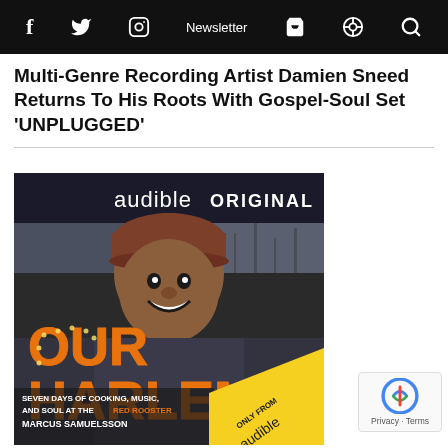f  Twitter  Instagram  Newsletter  Cart  Podcast  Search
Multi-Genre Recording Artist Damien Sneed Returns To His Roots With Gospel-Soul Set ‘UNPLUGGED’
[Figure (illustration): Audible Original book cover for 'Our Harlem: Seven Days of Cooking, Music, and Soul at the Red Rooster' by Marcus Samuelsson. Shows a smiling Black man wearing a brown knit cap and patterned scarf, with large orange marquee-style letters reading OUR HARLEM. Text at bottom reads SEVEN DAYS OF COOKING, MUSIC, AND SOUL AT THE RED ROOSTER and MARCUS SAMUELSSON. Bottom right has yellow diagonal banner with Audible branding reading ONLY FROM Audible.]